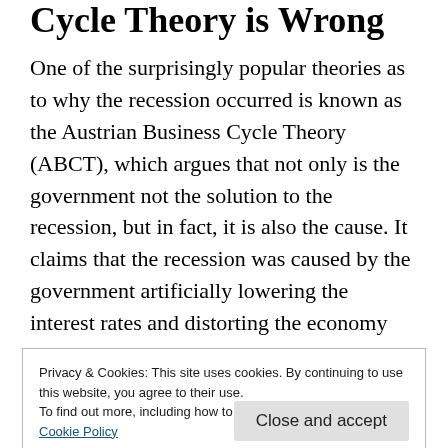Cycle Theory is Wrong
One of the surprisingly popular theories as to why the recession occurred is known as the Austrian Business Cycle Theory (ABCT), which argues that not only is the government not the solution to the recession, but in fact, it is also the cause. It claims that the recession was caused by the government artificially lowering the interest rates and distorting the economy leading to a recession. As you can imagine this
Privacy & Cookies: This site uses cookies. By continuing to use this website, you agree to their use.
To find out more, including how to control cookies, see here: Cookie Policy
also completely wrong and dangerously so